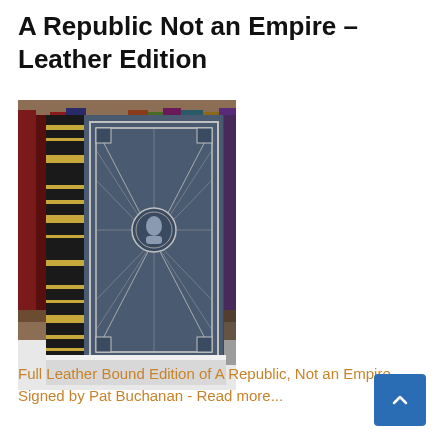A Republic Not an Empire – Leather Edition
[Figure (photo): Photograph of a full leather bound edition of 'A Republic, Not an Empire' book with decorative silver lattice cover design and portrait medallion, displayed standing on a shelf in front of other books]
Full Leather Bound Edition of A Republic, Not an Empire, Signed by Pat Buchanan - Read more...